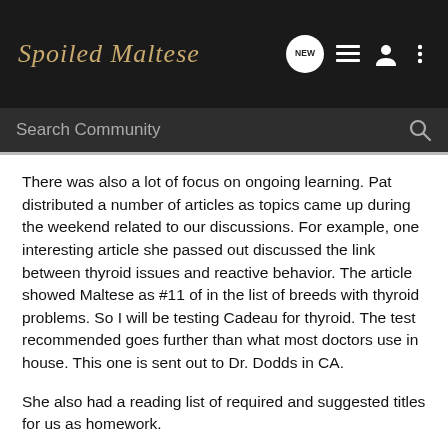Spoiled Maltese
There was also a lot of focus on ongoing learning. Pat distributed a number of articles as topics came up during the weekend related to our discussions. For example, one interesting article she passed out discussed the link between thyroid issues and reactive behavior. The article showed Maltese as #11 of in the list of breeds with thyroid problems. So I will be testing Cadeau for thyroid. The test recommended goes further than what most doctors use in house. This one is sent out to Dr. Dodds in CA.
She also had a reading list of required and suggested titles for us as homework.
Required: